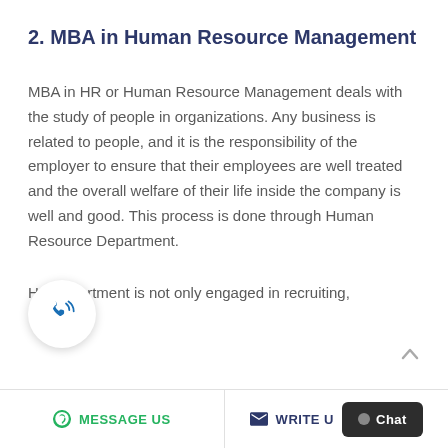2. MBA in Human Resource Management
MBA in HR or Human Resource Management deals with the study of people in organizations. Any business is related to people, and it is the responsibility of the employer to ensure that their employees are well treated and the overall welfare of their life inside the company is well and good. This process is done through Human Resource Department.
HR department is not only engaged in recruiting,
[Figure (illustration): Phone/call icon button - circular white button with blue phone icon with signal waves]
MESSAGE US   WRITE U   Chat